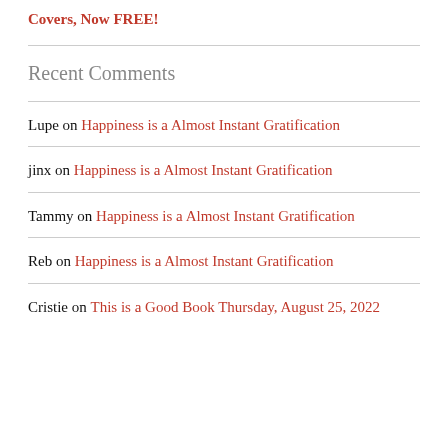Covers, Now FREE!
Recent Comments
Lupe on Happiness is a Almost Instant Gratification
jinx on Happiness is a Almost Instant Gratification
Tammy on Happiness is a Almost Instant Gratification
Reb on Happiness is a Almost Instant Gratification
Cristie on This is a Good Book Thursday, August 25, 2022